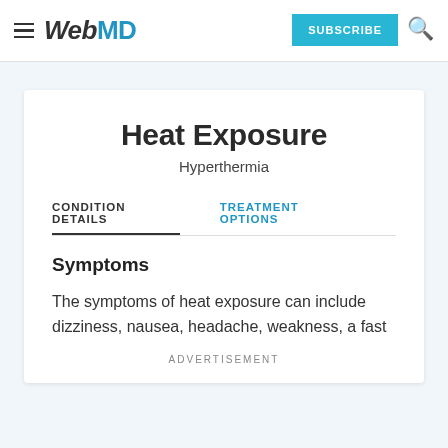WebMD | SUBSCRIBE
Heat Exposure
Hyperthermia
CONDITION DETAILS | TREATMENT OPTIONS
Symptoms
The symptoms of heat exposure can include dizziness, nausea, headache, weakness, a fast
ADVERTISEMENT